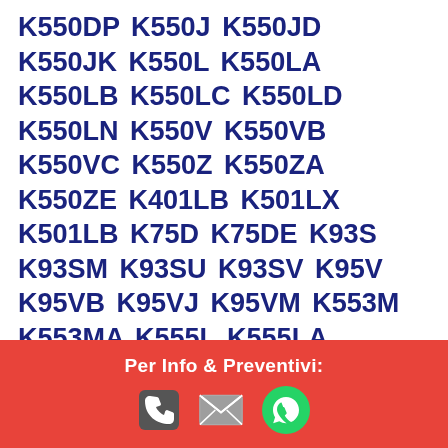K550DP K550J K550JD K550JK K550L K550LA K550LB K550LC K550LD K550LN K550V K550VB K550VC K550Z K550ZA K550ZE K401LB K501LX K501LB K75D K75DE K93S K93SM K93SU K93SV K95V K95VB K95VJ K95VM K553M K553MA K555L K555LA K555LD K555LJ K555LN K555LP K555Z K555ZA K555ZE K750J K750JA K750JB K750JN K750L K750LA K750LB K50AB K50AD K50AE K50AF K50C K50ID K50IE K50IJ K50IN K50IO K50IP K51AB K51AC K51AE K51IO K60IJ K60IL K60IN K61IC K70AB K70AC
K70AD K70AE K70AF K70IC K70ID K70IJ K70IL K70IO K42 K42E K42Q K42DR K42DY K42E K42A K42JA K42JP K42JR K42JV
Per Info & Preventivi: